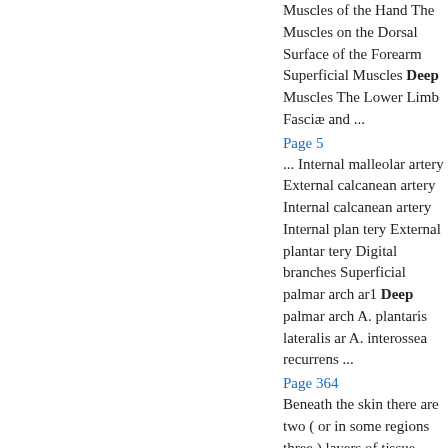Muscles of the Hand The Muscles on the Dorsal Surface of the Forearm Superficial Muscles Deep Muscles The Lower Limb Fasciæ and ...
Page 5
... Internal malleolar artery External calcanean artery Internal calcanean artery Internal plan tery External plantar tery Digital branches Superficial palmar arch ar1 Deep palmar arch A. plantaris lateralis ar A. interossea recurrens ...
Page 364
Beneath the skin there are two ( or in some regions three ) layers of tissue which require consideration in relation